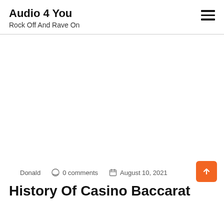Audio 4 You
Rock Off And Rave On
[Figure (other): Large white/blank advertisement or image area]
Donald  0 comments  August 10, 2021
History Of Casino Baccarat